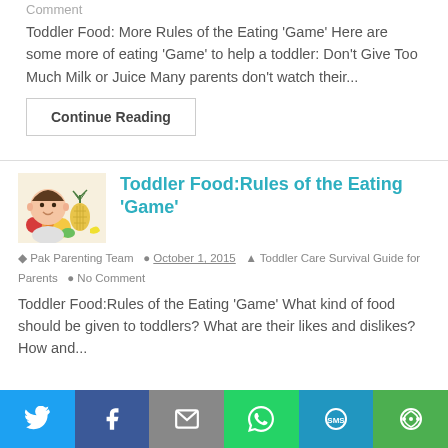Comment
Toddler Food: More Rules of the Eating ‘Game’ Here are some more of eating ‘Game’ to help a toddler: Don't Give Too Much Milk or Juice Many parents don’t watch their...
Continue Reading
[Figure (photo): Baby sitting among fruits including pineapple, oranges, and other colorful produce]
Toddler Food:Rules of the Eating ‘Game’
Pak Parenting Team   October 1, 2015   Toddler Care Survival Guide for Parents   No Comment
Toddler Food:Rules of the Eating ‘Game’ What kind of food should be given to toddlers? What are their likes and dislikes? How and...